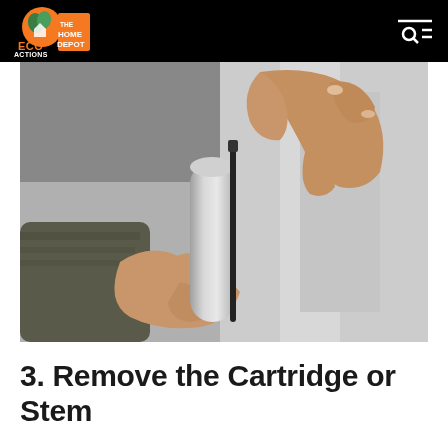ECO ACTIONS | The Home Depot
[Figure (photo): Close-up photograph of a person's hands removing a faucet cartridge or stem from a faucet body. The person wears a dark green/grey sleeve on their left arm. They are gripping a silver metal cartridge with their right hand and pulling it from the wall-mounted faucet.]
3. Remove the Cartridge or Stem